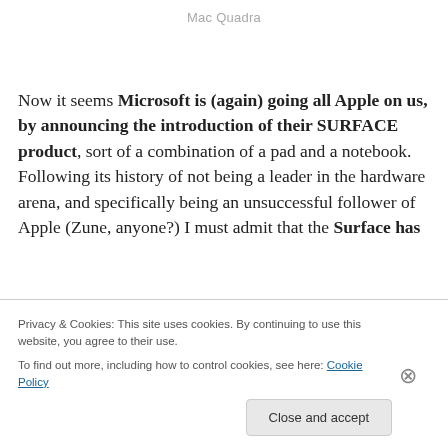Mac Quadra
Now it seems Microsoft is (again) going all Apple on us, by announcing the introduction of their SURFACE product, sort of a combination of a pad and a notebook. Following its history of not being a leader in the hardware arena, and specifically being an unsuccessful follower of Apple (Zune, anyone?) I must admit that the Surface has
Privacy & Cookies: This site uses cookies. By continuing to use this website, you agree to their use.
To find out more, including how to control cookies, see here: Cookie Policy
[Close and accept]